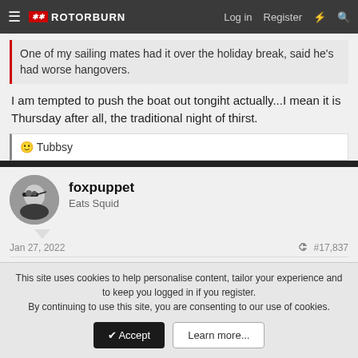ROTORBURN — Log in  Register
One of my sailing mates had it over the holiday break, said he's had worse hangovers.
I am tempted to push the boat out tongiht actually...I mean it is Thursday after all, the traditional night of thirst.
🙂 Tubbsy
foxpuppet
Eats Squid
Jan 27, 2022
#17,837
This site uses cookies to help personalise content, tailor your experience and to keep you logged in if you register.
By continuing to use this site, you are consenting to our use of cookies.